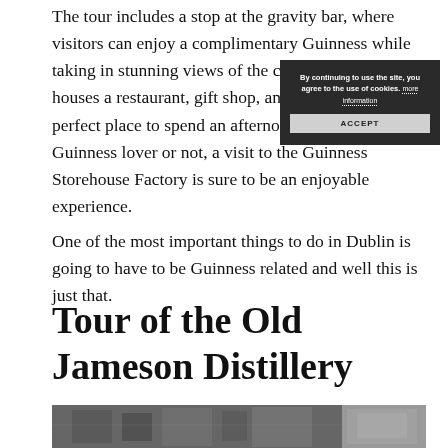The tour includes a stop at the gravity bar, where visitors can enjoy a complimentary Guinness while taking in stunning views of the city. The factory also houses a restaurant, gift shop, and café, making it the perfect place to spend an afternoon. Whether you're a Guinness lover or not, a visit to the Guinness Storehouse Factory is sure to be an enjoyable experience.
[Figure (screenshot): Cookie consent overlay popup with dark background. Text reads 'By continuing to use the site, you agree to the use of cookies. more information' with an ACCEPT button below.]
One of the most important things to do in Dublin is going to have to be Guinness related and well this is just that.
Tour of the Old Jameson Distillery
[Figure (photo): Black and white photograph showing building facades, likely the Old Jameson Distillery area in Dublin.]